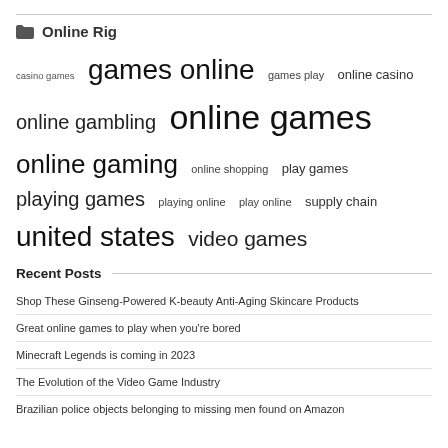Online Rig
casino games  games online  games play  online casino  online gambling  online games  online gaming  online shopping  play games  playing games  playing online  play online  supply chain  united states  video games
Recent Posts
Shop These Ginseng-Powered K-beauty Anti-Aging Skincare Products
Great online games to play when you're bored
Minecraft Legends is coming in 2023
The Evolution of the Video Game Industry
Brazilian police objects belonging to missing men found on Amazon